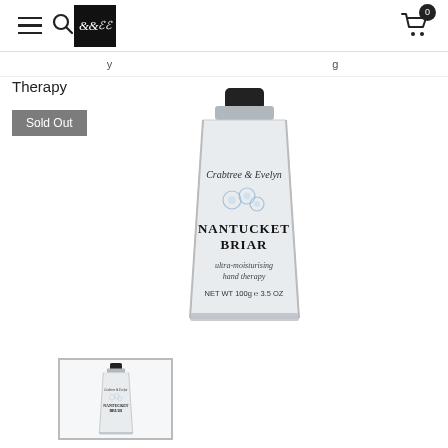Navigation bar with menu, search, Crabtree & Evelyn logo, cart (0)
Therapy
Sold Out
[Figure (photo): Crabtree & Evelyn Nantucket Briar ultra-moisturising hand therapy tube, 100g / 3.5 OZ, white aluminum tube with black cap and floral illustration]
[Figure (photo): Small thumbnail of the same Crabtree & Evelyn Nantucket Briar hand therapy tube]